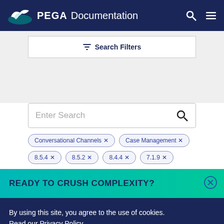PEGA Documentation
Search Filters
Enter Search
Conversational Channels ×
Case Management ×
8.5.4 ×
8.5.2 ×
8.4.4 ×
7.1.9 ×
READY TO CRUSH COMPLEXITY?
By using this site, you agree to the use of cookies.
Read our Privacy Policy
Accept and continue
About cookies